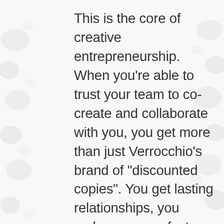This is the core of creative entrepreneurship. When you're able to trust your team to co-create and collaborate with you, you get more than just Verrocchio's brand of "discounted copies". You get lasting relationships, you make progress faster, and you can leverage your time in meaningful ways.
Edison didn't just leave his Great Work to his cloned minions. He leveraged his time by bringing in smart, savvy people (like Tesla) so that he could do the things that only Edison could. Edison understood the value of a team, but unlike Verrocchio, he also understood that